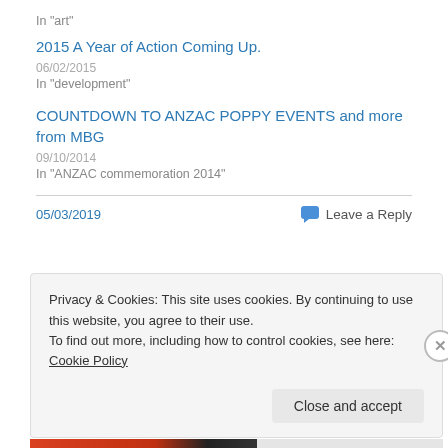In "art"
2015 A Year of Action Coming Up.
06/02/2015
In "development"
COUNTDOWN TO ANZAC POPPY EVENTS and more from MBG
09/10/2014
In "ANZAC commemoration 2014"
05/03/2019    Leave a Reply
Privacy & Cookies: This site uses cookies. By continuing to use this website, you agree to their use.
To find out more, including how to control cookies, see here: Cookie Policy
Close and accept